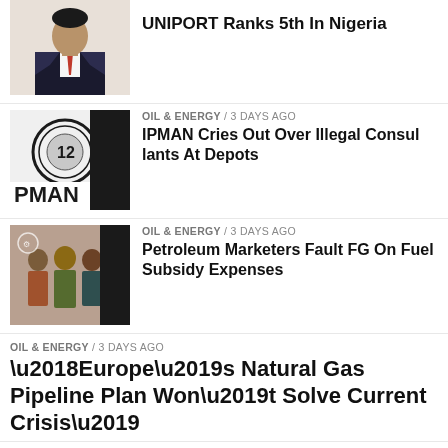[Figure (photo): Portrait of a man in suit with red tie]
UNIPORT Ranks 5th In Nigeria
OIL & ENERGY / 3 days ago
[Figure (logo): IPMAN / PMAN logo]
IPMAN Cries Out Over Illegal Consul lants At Depots
OIL & ENERGY / 3 days ago
[Figure (photo): Group photo of officials]
Petroleum Marketers Fault FG On Fuel Subsidy Expenses
OIL & ENERGY / 3 days ago
‘Europe’s Natural Gas Pipeline Plan Won’t Solve Current Crisis’
OPINION / 3 days ago
Dregs And Scum Of The Earth
OIL & ENERGY / 3 days ago
[Figure (logo): SON (Standards Organisation of Nigeria) logo with eagle and green text]
SON, Experts Want Solar Products’ Quality Regulation